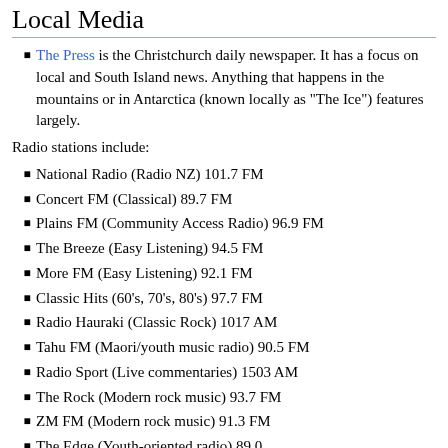Local Media
The Press is the Christchurch daily newspaper. It has a focus on local and South Island news. Anything that happens in the mountains or in Antarctica (known locally as "The Ice") features largely.
Radio stations include:
National Radio (Radio NZ) 101.7 FM
Concert FM (Classical) 89.7 FM
Plains FM (Community Access Radio) 96.9 FM
The Breeze (Easy Listening) 94.5 FM
More FM (Easy Listening) 92.1 FM
Classic Hits (60's, 70's, 80's) 97.7 FM
Radio Hauraki (Classic Rock) 1017 AM
Tahu FM (Maori/youth music radio) 90.5 FM
Radio Sport (Live commentaries) 1503 AM
The Rock (Modern rock music) 93.7 FM
ZM FM (Modern rock music) 91.3 FM
The Edge (Youth-oriented radio) 89.0
RDU (Student radio) 98.5 FM
Things to Do